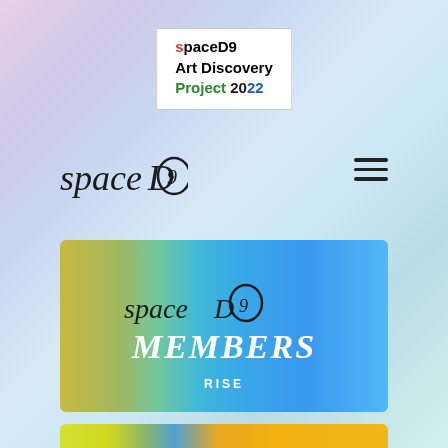spaceD9 Art Discovery Project 2022
[Figure (logo): spaceD9 logo in italic serif font]
[Figure (illustration): Hamburger menu icon (three horizontal bars)]
[Figure (illustration): spaceD9 MEMBERS RISE card with blue gradient background]
[Figure (illustration): spaceD9 MEMBERS PLUS card with yellow/orange gradient background]